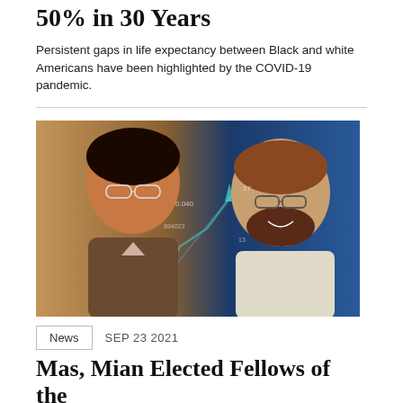50% in 30 Years
Persistent gaps in life expectancy between Black and white Americans have been highlighted by the COVID-19 pandemic.
[Figure (photo): Photo of two men (Mas and Mian) against a background showing financial market data charts with upward trending arrows in blue tones.]
News   SEP 23 2021
Mas, Mian Elected Fellows of the